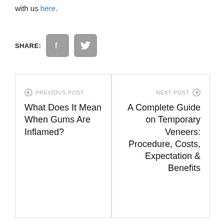with us here.
[Figure (other): Share buttons: Facebook and Twitter social media icons in gray rounded squares]
← PREVIOUS POST
What Does It Mean When Gums Are Inflamed?
NEXT POST →
A Complete Guide on Temporary Veneers: Procedure, Costs, Expectation & Benefits